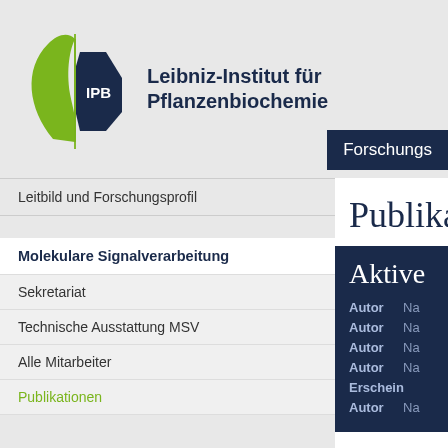[Figure (logo): IPB Leibniz-Institut für Pflanzenbiochemie logo with green leaf and dark blue hexagon shape]
Leibniz-Institut für Pflanzenbiochemie
Forschungsgruppen (nav button, partially visible)
Leitbild und Forschungsprofil
Molekulare Signalverarbeitung
Sekretariat
Technische Ausstattung MSV
Alle Mitarbeiter
Publikationen
Forschungsgruppen
Nährstoffperzeption
Jasmonat-Signaling
Publikationen (partially visible)
Aktive
Autor Nachname
Autor Nachname
Autor Nachname
Autor Nachname
Erscheinungsjahr
Autor Nachname